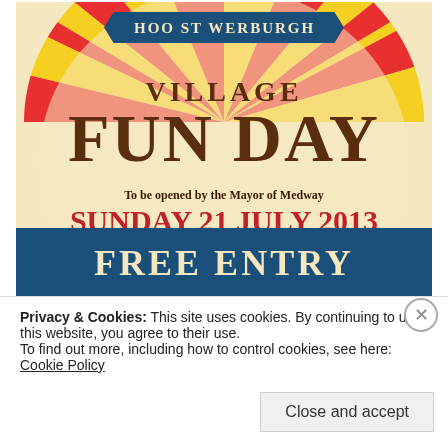[Figure (illustration): Hoo St Werburgh Village Fun Day poster. Vintage fair style with sunburst background in red and yellow. Blue ribbon banner at top reading HOO ST WERBURGH. Large text VILLAGE FUN DAY in brown/dark red. Text: To be opened by the Mayor of Medway. SUNDAY 21 JULY 2013. 12NOON - 7PM. Blue ribbon banner at bottom reading FREE ENTRY.]
Privacy & Cookies: This site uses cookies. By continuing to use this website, you agree to their use.
To find out more, including how to control cookies, see here: Cookie Policy
Close and accept